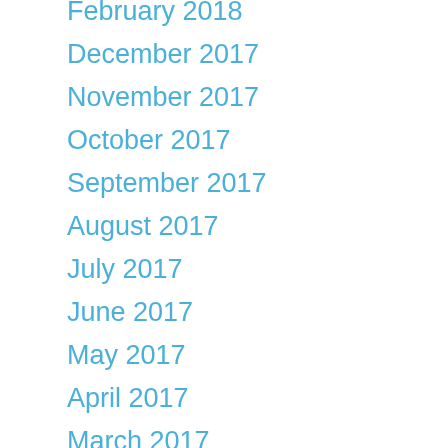February 2018
December 2017
November 2017
October 2017
September 2017
August 2017
July 2017
June 2017
May 2017
April 2017
March 2017
February 2017
January 2017
December 2016